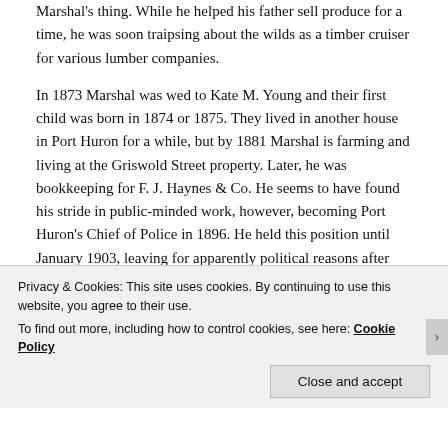Marshal's thing. While he helped his father sell produce for a time, he was soon traipsing about the wilds as a timber cruiser for various lumber companies.
In 1873 Marshal was wed to Kate M. Young and their first child was born in 1874 or 1875. They lived in another house in Port Huron for a while, but by 1881 Marshal is farming and living at the Griswold Street property. Later, he was bookkeeping for F. J. Haynes & Co. He seems to have found his stride in public-minded work, however, becoming Port Huron's Chief of Police in 1896. He held this position until January 1903, leaving for apparently political reasons after having been recently reelected. Before becoming a County Undersheriff in 1909, Marshal kept himself
Privacy & Cookies: This site uses cookies. By continuing to use this website, you agree to their use.
To find out more, including how to control cookies, see here: Cookie Policy
Close and accept